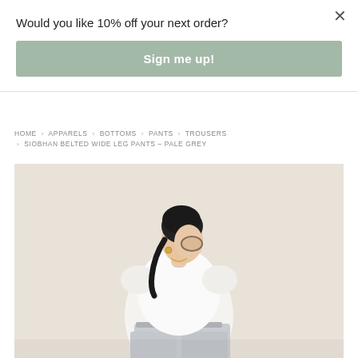Would you like 10% off your next order?
Sign me up!
HOME › APPARELS › BOTTOMS › PANTS › TROUSERS › SIOBHAN BELTED WIDE LEG PANTS – PALE GREY
[Figure (photo): Fashion product photo of a woman wearing a white blouse and pale grey wide leg pants, posed against a beige background.]